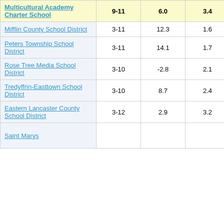| School/District | Grades | Col3 | Col4 | Col5 |
| --- | --- | --- | --- | --- |
| Multicultural Academy Charter School | 9-11 | 6.0 | 3.4 | 1.77 |
| Mifflin County School District | 3-11 | 12.3 | 1.6 | 7.69 |
| Peters Township School District | 3-11 | 14.1 | 1.7 | 8.16 |
| Rose Tree Media School District | 3-10 | -2.8 | 2.1 | -1.33 |
| Tredyffrin-Easttown School District | 3-10 | 8.7 | 2.4 | 3.57 |
| Eastern Lancaster County School District | 3-12 | 2.9 | 3.2 | 0.91 |
| Saint Marys |  |  |  |  |